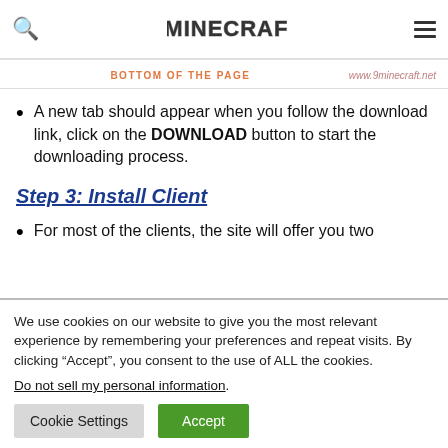9MINECRAFT — BOTTOM OF THE PAGE — www.9minecraft.net
A new tab should appear when you follow the download link, click on the DOWNLOAD button to start the downloading process.
Step 3: Install Client
For most of the clients, the site will offer you two
We use cookies on our website to give you the most relevant experience by remembering your preferences and repeat visits. By clicking "Accept", you consent to the use of ALL the cookies.
Do not sell my personal information.